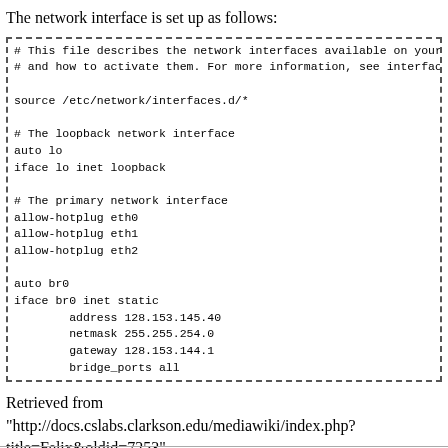The network interface is set up as follows:
# This file describes the network interfaces available on your system
# and how to activate them. For more information, see interfaces(5).

source /etc/network/interfaces.d/*

# The loopback network interface
auto lo
iface lo inet loopback

# The primary network interface
allow-hotplug eth0
allow-hotplug eth1
allow-hotplug eth2

auto br0
iface br0 inet static
        address 128.153.145.40
        netmask 255.255.254.0
        gateway 128.153.144.1
        bridge_ports all
Retrieved from "http://docs.cslabs.clarkson.edu/mediawiki/index.php?title=Felix&oldid=7253"